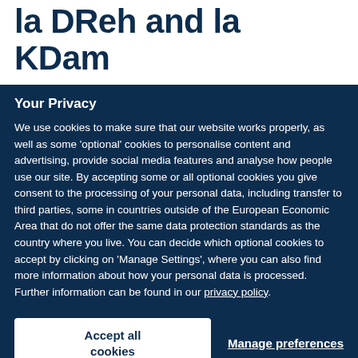la DReh and la KDam
Your Privacy
We use cookies to make sure that our website works properly, as well as some 'optional' cookies to personalise content and advertising, provide social media features and analyse how people use our site. By accepting some or all optional cookies you give consent to the processing of your personal data, including transfer to third parties, some in countries outside of the European Economic Area that do not offer the same data protection standards as the country where you live. You can decide which optional cookies to accept by clicking on 'Manage Settings', where you can also find more information about how your personal data is processed. Further information can be found in our privacy policy.
Accept all cookies
Manage preferences